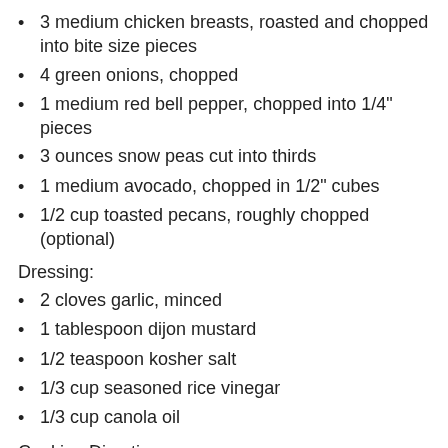3 medium chicken breasts, roasted and chopped into bite size pieces
4 green onions, chopped
1 medium red bell pepper, chopped into 1/4" pieces
3 ounces snow peas cut into thirds
1 medium avocado, chopped in 1/2" cubes
1/2 cup toasted pecans, roughly chopped (optional)
Dressing:
2 cloves garlic, minced
1 tablespoon dijon mustard
1/2 teaspoon kosher salt
1/3 cup seasoned rice vinegar
1/3 cup canola oil
Cooking Directions
Cook rice according to package directions and let cool